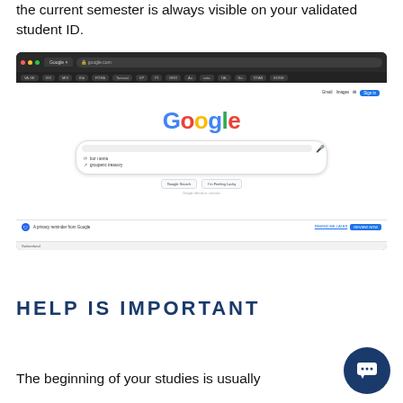the current semester is always visible on your validated student ID.
[Figure (screenshot): Screenshot of Google homepage in a dark-themed Chrome browser, showing the Google logo, search box with suggestions, Google Search and I'm Feeling Lucky buttons, a privacy reminder banner from Google, and footer links.]
HELP IS IMPORTANT
The beginning of your studies is usually